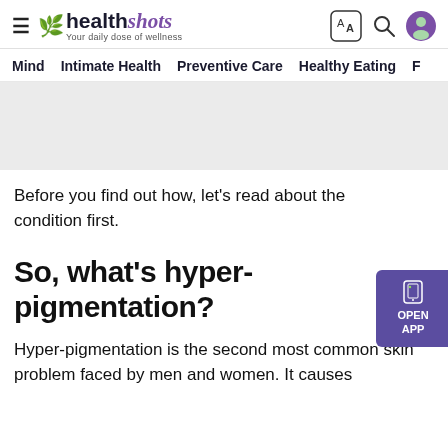healthshots — Your daily dose of wellness
Mind | Intimate Health | Preventive Care | Healthy Eating | F
[Figure (other): Gray placeholder/advertisement banner]
Before you find out how, let’s read about the condition first.
So, what’s hyper-pigmentation?
Hyper-pigmentation is the second most common skin problem faced by men and women. It causes